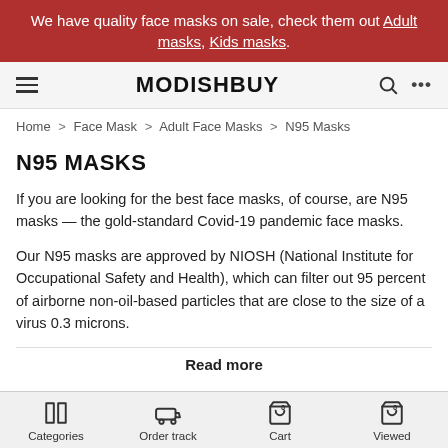We have quality face masks on sale, check them out Adult masks, Kids masks.
[Figure (screenshot): MODISHBUY website navigation bar with hamburger menu, logo, search icon, and more options dots]
Home > Face Mask > Adult Face Masks > N95 Masks
N95 MASKS
If you are looking for the best face masks, of course, are N95 masks — the gold-standard Covid-19 pandemic face masks.
Our N95 masks are approved by NIOSH (National Institute for Occupational Safety and Health), which can filter out 95 percent of airborne non-oil-based particles that are close to the size of a virus 0.3 microns.
Read more
Categories   Order track   Cart   Viewed